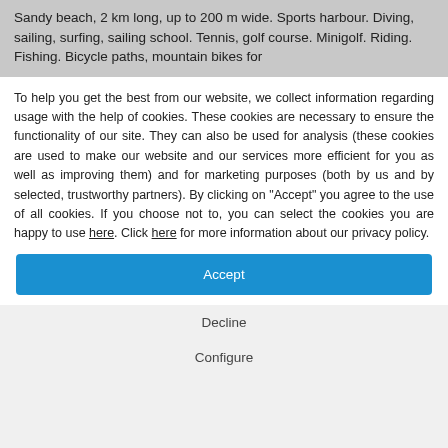Sandy beach, 2 km long, up to 200 m wide. Sports harbour. Diving, sailing, surfing, sailing school. Tennis, golf course. Minigolf. Riding. Fishing. Bicycle paths, mountain bikes for
To help you get the best from our website, we collect information regarding usage with the help of cookies. These cookies are necessary to ensure the functionality of our site. They can also be used for analysis (these cookies are used to make our website and our services more efficient for you as well as improving them) and for marketing purposes (both by us and by selected, trustworthy partners). By clicking on "Accept" you agree to the use of all cookies. If you choose not to, you can select the cookies you are happy to use here. Click here for more information about our privacy policy.
Accept
Decline
Configure